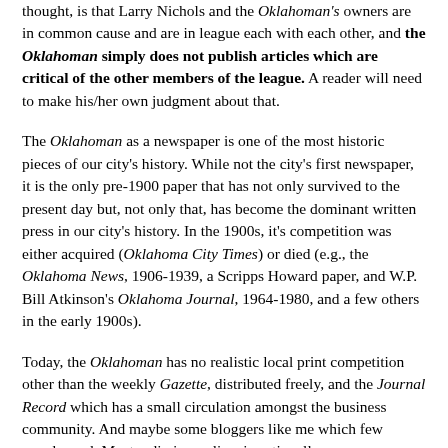thought, is that Larry Nichols and the Oklahoman's owners are in common cause and are in league each with each other, and the Oklahoman simply does not publish articles which are critical of the other members of the league. A reader will need to make his/her own judgment about that.
The Oklahoman as a newspaper is one of the most historic pieces of our city's history. While not the city's first newspaper, it is the only pre-1900 paper that has not only survived to the present day but, not only that, has become the dominant written press in our city's history. In the 1900s, it's competition was either acquired (Oklahoma City Times) or died (e.g., the Oklahoma News, 1906-1939, a Scripps Howard paper, and W.P. Bill Atkinson's Oklahoma Journal, 1964-1980, and a few others in the early 1900s).
Today, the Oklahoman has no realistic local print competition other than the weekly Gazette, distributed freely, and the Journal Record which has a small circulation amongst the business community. And maybe some bloggers like me which few people read. Most radio journalism is nationally-